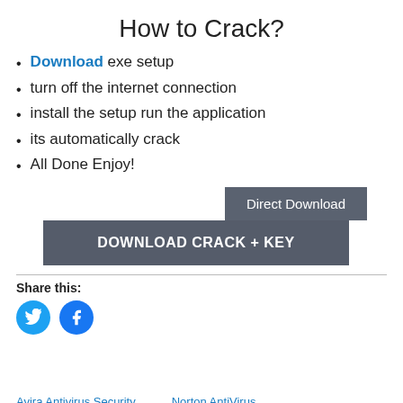How to Crack?
Download exe setup
turn off the internet connection
install the setup run the application
its automatically crack
All Done Enjoy!
[Figure (other): Two stacked download buttons: 'Direct Download' (smaller, top right) and 'DOWNLOAD CRACK + KEY' (larger, bottom)]
Share this:
[Figure (infographic): Twitter and Facebook social share icon circles in cyan/blue]
Avira Antivirus Security    Norton AntiVirus